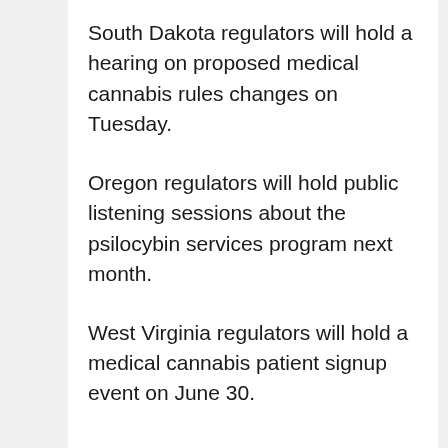South Dakota regulators will hold a hearing on proposed medical cannabis rules changes on Tuesday.
Oregon regulators will hold public listening sessions about the psilocybin services program next month.
West Virginia regulators will hold a medical cannabis patient signup event on June 30.
—
Marijuana Moment is already tracking more than 1,000 cannabis, psychedelics and drug policy bills in state legislatures and Congress this year.